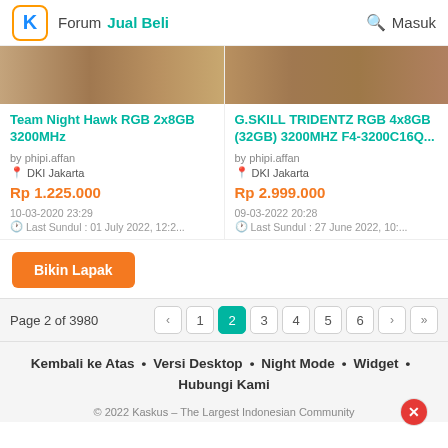Forum  Jual Beli  Masuk
[Figure (photo): Two product listing card images showing brick/stone texture backgrounds side by side]
Team Night Hawk RGB 2x8GB 3200MHz
by phipi.affan
DKI Jakarta
Rp 1.225.000
10-03-2020 23:29
Last Sundul : 01 July 2022, 12:2...
G.SKILL TRIDENTZ RGB 4x8GB (32GB) 3200MHZ F4-3200C16Q...
by phipi.affan
DKI Jakarta
Rp 2.999.000
09-03-2022 20:28
Last Sundul : 27 June 2022, 10:...
Bikin Lapak
Page 2 of 3980
Kembali ke Atas • Versi Desktop • Night Mode • Widget • Hubungi Kami
© 2022 Kaskus – The Largest Indonesian Community